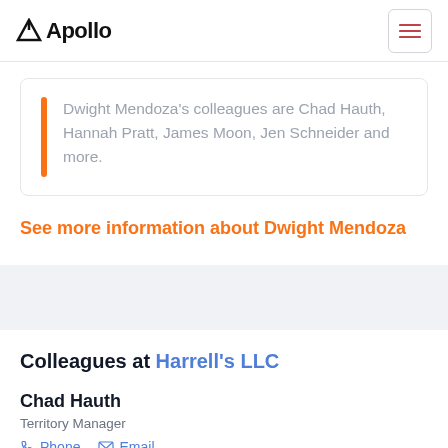Apollo
Dwight Mendoza's colleagues are Chad Hauth, Hannah Pratt, James Moon, Jen Schneider and more.
See more information about Dwight Mendoza
Colleagues at Harrell's LLC
Chad Hauth
Territory Manager
Phone  Email